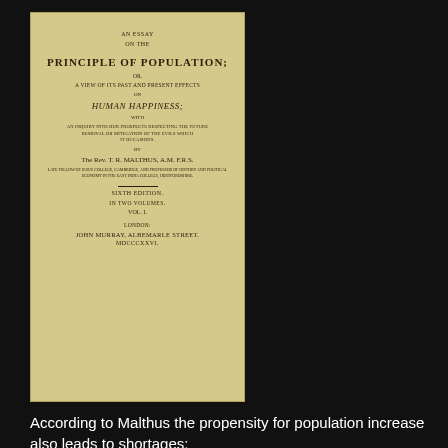[Figure (photo): Scanned title page of 'An Essay on the Principle of Population' by T.R. Malthus, Sixth Edition, Vol. I, published by John Murray, Albemarle Street. The page has a cream/yellowed background with centered text in various sizes.]
According to Malthus the propensity for population increase also leads to shortages:
We will suppose the means of subsistence in any country just equal a constant effort towards population... increases the number of people